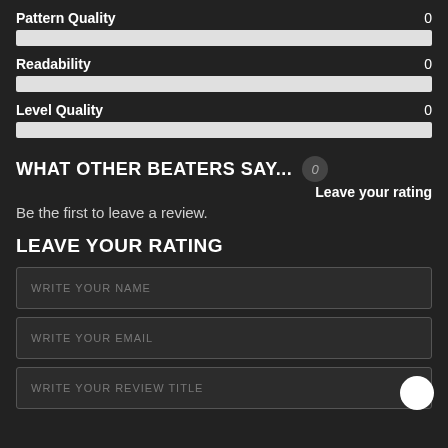Pattern Quality  0
[Figure (infographic): Light gray horizontal progress bar for Pattern Quality at 0]
Readability  0
[Figure (infographic): Light gray horizontal progress bar for Readability at 0]
Level Quality  0
[Figure (infographic): Light gray horizontal progress bar for Level Quality at 0]
WHAT OTHER BEATERS SAY...  0
Leave your rating
Be the first to leave a review.
LEAVE YOUR RATING
WRITE YOUR NAME
WRITE YOUR EMAIL
WRITE YOUR REVIEW TITLE